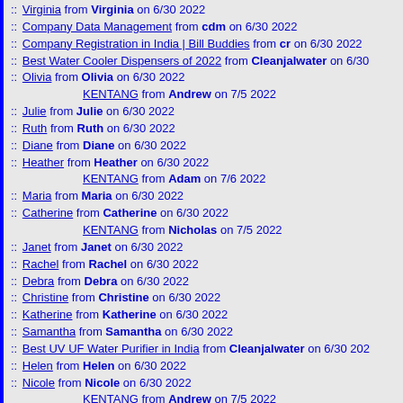:: Virginia from Virginia on 6/30 2022
:: Company Data Management from cdm on 6/30 2022
:: Company Registration in India | Bill Buddies from cr on 6/30 2022
:: Best Water Cooler Dispensers of 2022 from Cleanjalwater on 6/30
:: Olivia from Olivia on 6/30 2022
KENTANG from Andrew on 7/5 2022
:: Julie from Julie on 6/30 2022
:: Ruth from Ruth on 6/30 2022
:: Diane from Diane on 6/30 2022
:: Heather from Heather on 6/30 2022
KENTANG from Adam on 7/6 2022
:: Maria from Maria on 6/30 2022
:: Catherine from Catherine on 6/30 2022
KENTANG from Nicholas on 7/5 2022
:: Janet from Janet on 6/30 2022
:: Rachel from Rachel on 6/30 2022
:: Debra from Debra on 6/30 2022
:: Christine from Christine on 6/30 2022
:: Katherine from Katherine on 6/30 2022
:: Samantha from Samantha on 6/30 2022
:: Best UV UF Water Purifier in India from Cleanjalwater on 6/30 202
:: Helen from Helen on 6/30 2022
:: Nicole from Nicole on 6/30 2022
KENTANG from Andrew on 7/5 2022
:: Emma from Emma on 6/30 2022
:: Brenda from Brenda on 6/30 2022
:: Anna from Anna on 6/30 2022
:: Shirley from Shirley on 6/30 2022
KENTANG from Jessica on 7/5 2022
:: Angela from Angela on 6/30 2022